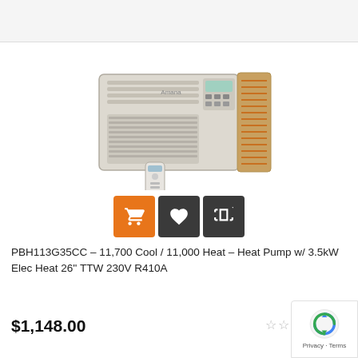[Figure (photo): Amana through-the-wall heat pump air conditioner unit (model PBH113G35CC), beige/cream colored with side refrigeration components exposed, with a white remote control shown in front]
[Figure (other): Three action buttons: orange shopping cart button, dark gray heart/wishlist button, dark gray compare button]
PBH113G35CC – 11,700 Cool / 11,000 Heat – Heat Pump w/ 3.5kW Elec Heat 26'' TTW 230V R410A
$1,148.00